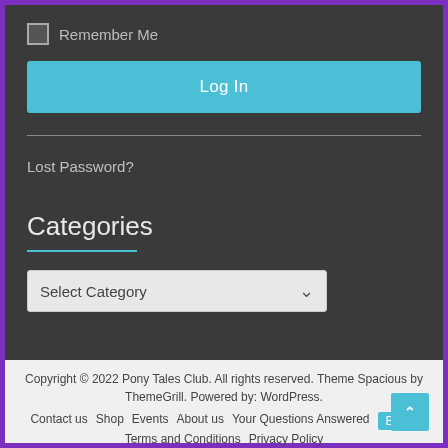Remember Me
Log In
Lost Password?
Categories
Select Category
Copyright © 2022 Pony Tales Club. All rights reserved. Theme Spacious by ThemeGrill. Powered by: WordPress.
Contact us  Shop  Events  About us  Your Questions Answered  Blog  Terms and Conditions  Privacy Policy